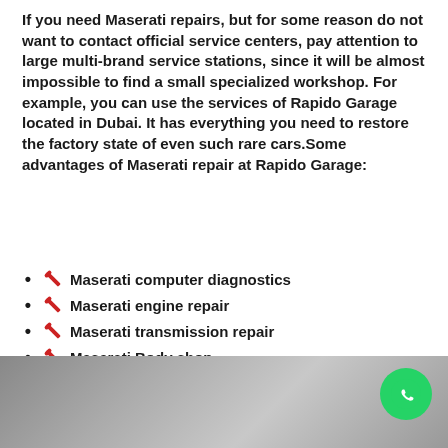If you need Maserati repairs, but for some reason do not want to contact official service centers, pay attention to large multi-brand service stations, since it will be almost impossible to find a small specialized workshop. For example, you can use the services of Rapido Garage located in Dubai. It has everything you need to restore the factory state of even such rare cars.Some advantages of Maserati repair at Rapido Garage:
🔧 Maserati computer diagnostics
🔧 Maserati engine repair
🔧 Maserati transmission repair
🔧 Maserati Body shop
🔧 Maserati Paint shop
🔧 Maserati Professional detailing
[Figure (photo): Exterior photo of a building/garage, partially visible at bottom of page]